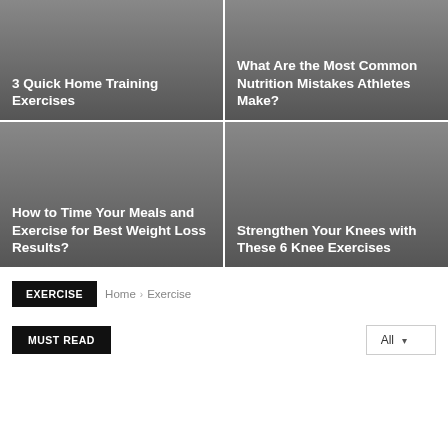3 Quick Home Training Exercises
What Are the Most Common Nutrition Mistakes Athletes Make?
How to Time Your Meals and Exercise for Best Weight Loss Results?
Strengthen Your Knees with These 6 Knee Exercises
EXERCISE
Home › Exercise
MUST READ
All